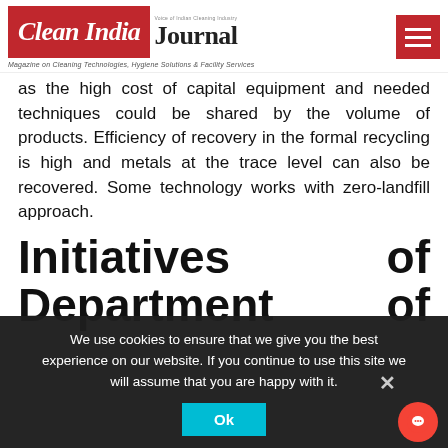Clean India Journal - Magazine on Cleaning Technologies, Hygiene Solutions & Facility Services
as the high cost of capital equipment and needed techniques could be shared by the volume of products. Efficiency of recovery in the formal recycling is high and metals at the trace level can also be recovered. Some technology works with zero-landfill approach.
Initiatives of Department of
We use cookies to ensure that we give you the best experience on our website. If you continue to use this site we will assume that you are happy with it.